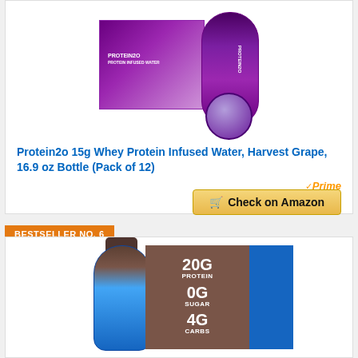[Figure (photo): Protein2o 15g Whey Protein Infused Water, Harvest Grape product image showing a multi-pack box and single bottle with purple/grape coloring]
Protein2o 15g Whey Protein Infused Water, Harvest Grape, 16.9 oz Bottle (Pack of 12)
Prime
Check on Amazon
BESTSELLER NO. 6
[Figure (photo): ICONIC protein drink product image showing a bottle and box with stats: 20G PROTEIN, 0G SUGAR, 4G CARBS]